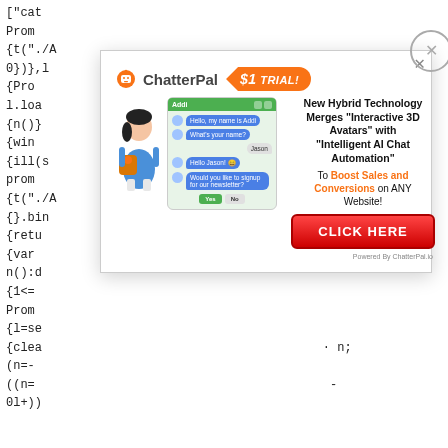["cat
Prom
{t("./A
0})},l
{Pro
l.loa
{n()}
{win
{ill(s
pron
{t("./
{}.bi
{retu
{var
n():d
{1<=
Prom
{l=se
{clea
(n=-
((n=
0l+))
[Figure (screenshot): ChatterPal advertisement overlay with $1 TRIAL badge, chat interface mockup with 3D avatar, headline 'New Hybrid Technology Merges Interactive 3D Avatars with Intelligent AI Chat Automation To Boost Sales and Conversions on ANY Website!', red CLICK HERE button, Powered By ChatterPal.io footer, and two close buttons (X)]